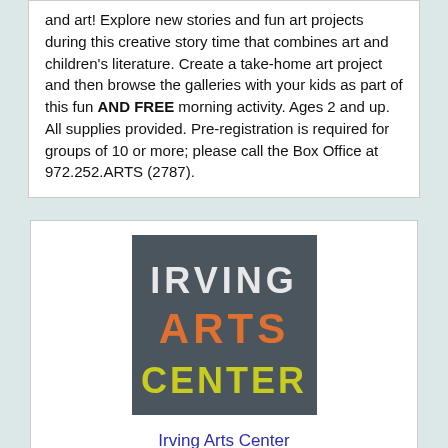and art! Explore new stories and fun art projects during this creative story time that combines art and children's literature. Create a take-home art project and then browse the galleries with your kids as part of this fun AND FREE morning activity. Ages 2 and up. All supplies provided. Pre-registration is required for groups of 10 or more; please call the Box Office at 972.252.ARTS (2787).
[Figure (logo): Irving Arts Center logo — dark gray/slate background rectangle with 'IRVING' in white text, 'ARTS' in orange text, 'CENTER' in yellow-green text, stacked vertically.]
Irving Arts Center
Irving
| Irving Arts Center | Email Us | Phone |  |
| --- | --- | --- | --- |
|  |